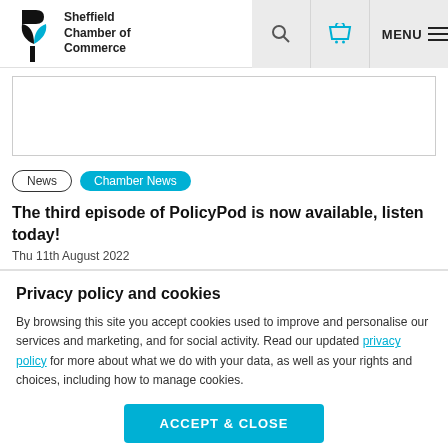Sheffield Chamber of Commerce
[Figure (other): Banner placeholder area with border]
News
Chamber News
The third episode of PolicyPod is now available, listen today!
Thu 11th August 2022
Privacy policy and cookies
By browsing this site you accept cookies used to improve and personalise our services and marketing, and for social activity. Read our updated privacy policy for more about what we do with your data, as well as your rights and choices, including how to manage cookies.
ACCEPT & CLOSE